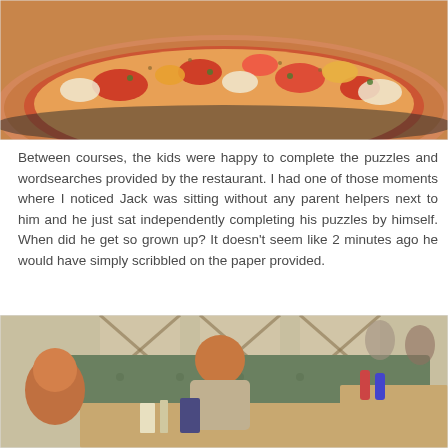[Figure (photo): Close-up photo of a pizza with tomatoes, cheese, and toppings on a dark plate]
Between courses, the kids were happy to complete the puzzles and wordsearches provided by the restaurant. I had one of those moments where I noticed Jack was sitting without any parent helpers next to him and he just sat independently completing his puzzles by himself. When did he get so grown up? It doesn't seem like 2 minutes ago he would have simply scribbled on the paper provided.
[Figure (photo): Photo of children sitting at a restaurant booth with green bench seating, looking at activity sheets on the table]